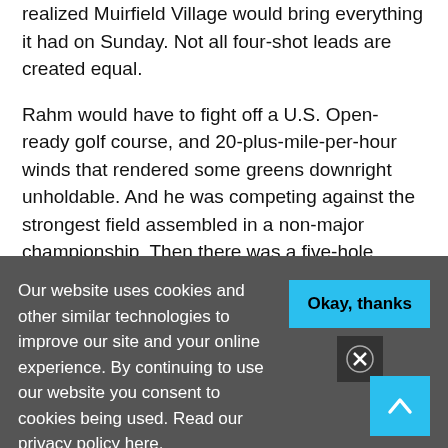realized Muirfield Village would bring everything it had on Sunday. Not all four-shot leads are created equal.
Rahm would have to fight off a U.S. Open-ready golf course, and 20-plus-mile-per-hour winds that rendered some greens downright unholdable. And he was competing against the strongest field assembled in a non-major championship. Then there was a five-hole stretch that saw his game go missing. Oh, and add a rules controversy to boot. All this while also knowing a victory would accomplish one of those childhood-dream-come-
Our website uses cookies and other similar technologies to improve our site and your online experience. By continuing to use our website you consent to cookies being used. Read our privacy policy here.